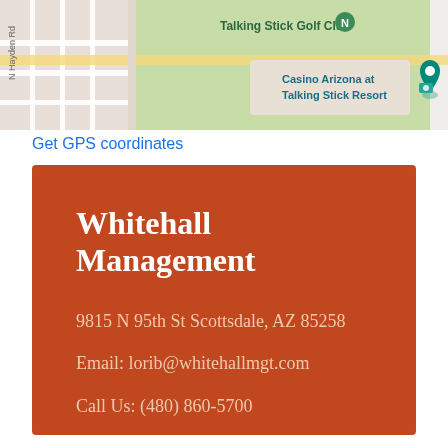[Figure (map): Google Maps screenshot showing Talking Stick Golf Club, Casino Arizona at Talking Stick Resort, and N Hayden Rd area in Scottsdale, AZ]
Get GPS coordinates
Whitehall Management
9815 N 95th St Scottsdale, AZ 85258
Email: lorib@whitehallmgt.com
Call Us: (480) 860-5700